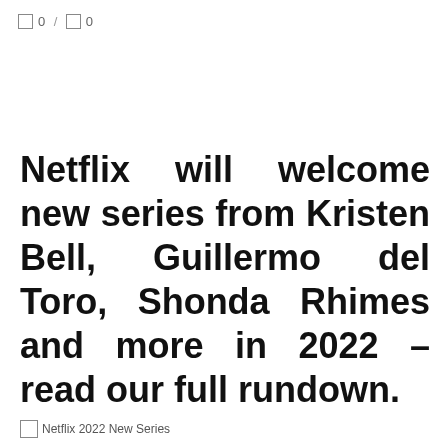0 / 0
Netflix will welcome new series from Kristen Bell, Guillermo del Toro, Shonda Rhimes and more in 2022 – read our full rundown.
Netflix 2022 New Series